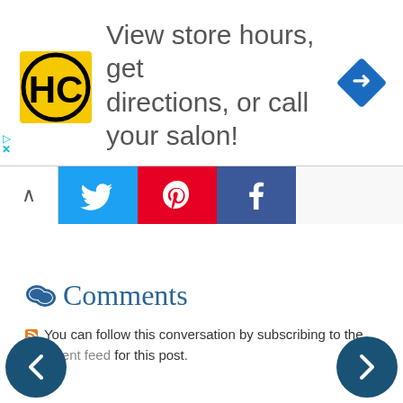[Figure (screenshot): Advertisement banner with HC (Hair Club) logo on yellow/black background, text 'View store hours, get directions, or call your salon!', and a blue navigation diamond icon on the right]
[Figure (screenshot): Social sharing bar with up arrow, Twitter bird icon (blue), Pinterest P icon (red), and Facebook f icon (dark blue)]
Comments
You can follow this conversation by subscribing to the comment feed for this post.